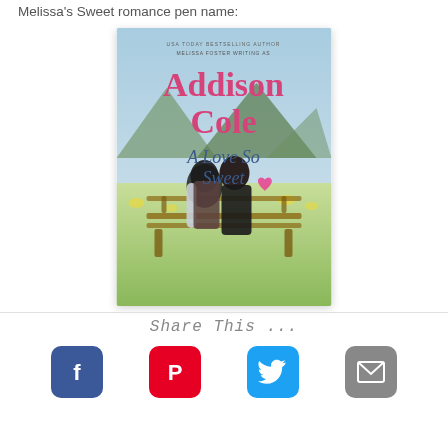Melissa's Sweet romance pen name:
[Figure (illustration): Book cover for 'A Love So Sweet' by Addison Cole (Melissa Foster writing as), showing a couple sitting on a bench about to kiss, with a scenic outdoor background of green fields and mountains. Pink text for author name, blue cursive text for title, with a pink heart icon.]
Share This ...
[Figure (logo): Facebook share button icon - white F on blue rounded square background]
[Figure (logo): Pinterest share button icon - white P on red rounded square background]
[Figure (logo): Twitter share button icon - white bird on blue rounded square background]
[Figure (logo): Email share button icon - white envelope on gray rounded square background]